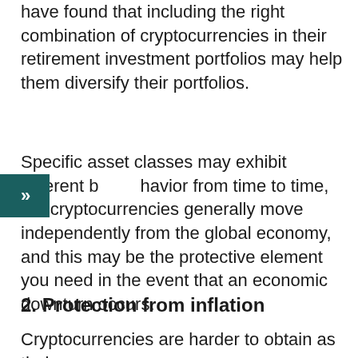have found that including the right combination of cryptocurrencies in their retirement investment portfolios may help them diversify their portfolios.
Specific asset classes may exhibit different behavior from time to time, but cryptocurrencies generally move independently from the global economy, and this may be the protective element you need in the event that an economic downturn occurs.
2. Protection from inflation
Cryptocurrencies are harder to obtain as their